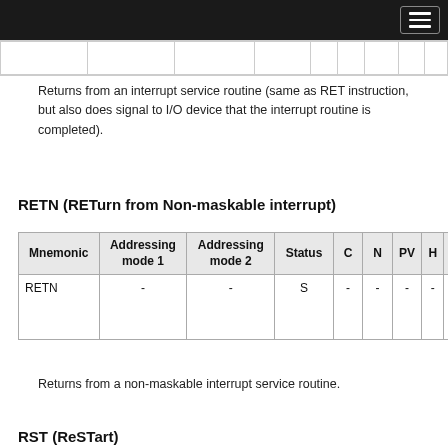|  |  |  |  |  |  |  |  |
| --- | --- | --- | --- | --- | --- | --- | --- |
|  |  |  |  |  |  |  |  |
Returns from an interrupt service routine (same as RET instruction, but also does signal to I/O device that the interrupt routine is completed).
RETN (RETurn from Non-maskable interrupt)
| Mnemonic | Addressing mode 1 | Addressing mode 2 | Status | C | N | PV | H | Z |
| --- | --- | --- | --- | --- | --- | --- | --- | --- |
| RETN | - | - | S | - | - | - | - | - |
Returns from a non-maskable interrupt service routine.
RST (ReSTart)